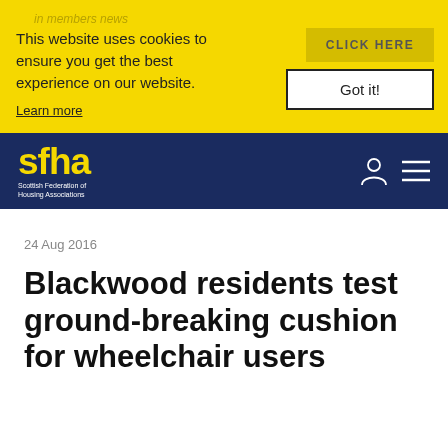in members news
This website uses cookies to ensure you get the best experience on our website.
CLICK HERE
Got it!
Learn more
[Figure (logo): SFHA - Scottish Federation of Housing Associations logo in yellow on dark navy background]
24 Aug 2016
Blackwood residents test ground-breaking cushion for wheelchair users